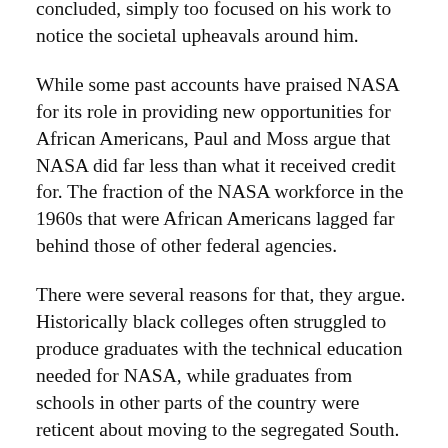concluded, simply too focused on his work to notice the societal upheavals around him.
While some past accounts have praised NASA for its role in providing new opportunities for African Americans, Paul and Moss argue that NASA did far less than what it received credit for. The fraction of the NASA workforce in the 1960s that were African Americans lagged far behind those of other federal agencies.
There were several reasons for that, they argue. Historically black colleges often struggled to produce graduates with the technical education needed for NASA, while graduates from schools in other parts of the country were reticent about moving to the segregated South. And, while NASA proclaimed to be an equal opportunity employer, with pressure from the White House to hire more black professions, those hiring decisions were often in the hands of local staff with their own biases.